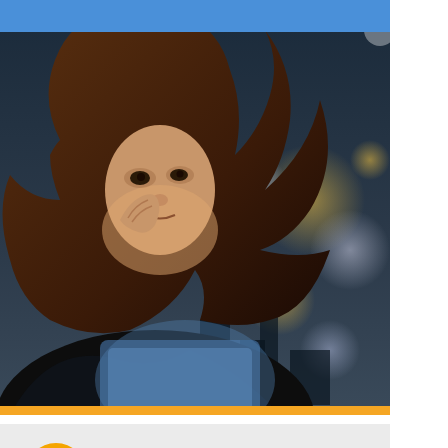[Figure (photo): Woman looking at a tablet device outdoors at night with bokeh city lights in background]
[Figure (logo): Norton LifeLock logo - yellow circle with checkmark and Norton LifeLock text]
Norton AntiVirus Plus
Powerful protection for your device and personal information on it
Only $19.99*